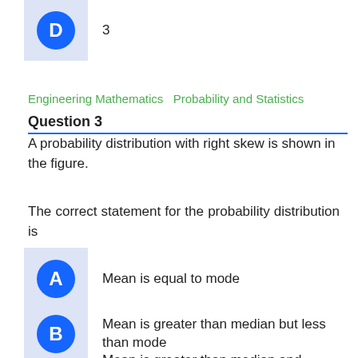D  3
Engineering Mathematics   Probability and Statistics
Question 3
A probability distribution with right skew is shown in the figure.
The correct statement for the probability distribution is
A  Mean is equal to mode
B  Mean is greater than median but less than mode
C  Mean is greater than median and